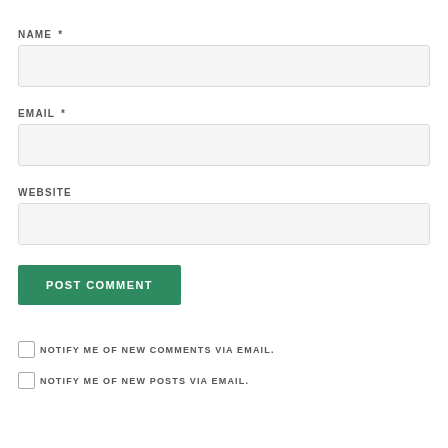NAME *
[Figure (other): Text input field for Name]
EMAIL *
[Figure (other): Text input field for Email]
WEBSITE
[Figure (other): Text input field for Website]
POST COMMENT
NOTIFY ME OF NEW COMMENTS VIA EMAIL.
NOTIFY ME OF NEW POSTS VIA EMAIL.